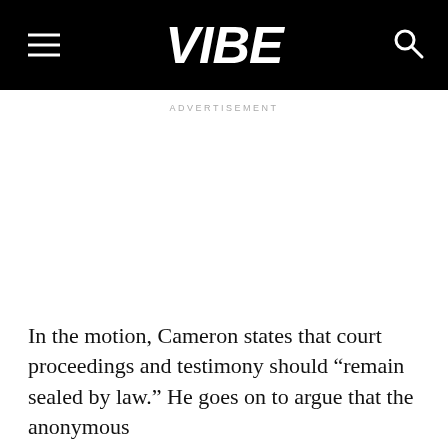VIBE
ADVERTISEMENT
In the motion, Cameron states that court proceedings and testimony should “remain sealed by law.” He goes on to argue that the anonymous